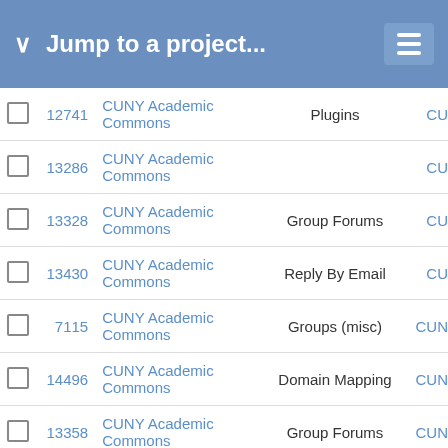Jump to a project...
|  | # | Project | Category |  |
| --- | --- | --- | --- | --- |
|  | 12741 | CUNY Academic Commons | Plugins | CU |
|  | 13286 | CUNY Academic Commons |  | CU |
|  | 13328 | CUNY Academic Commons | Group Forums | CU |
|  | 13430 | CUNY Academic Commons | Reply By Email | CU |
|  | 7115 | CUNY Academic Commons | Groups (misc) | CUN |
|  | 14496 | CUNY Academic Commons | Domain Mapping | CUN |
|  | 13358 | CUNY Academic Commons | Group Forums | CUN |
|  | 14983 | CUNY Academic Commons | WordPress (misc) | CU |
|  | 14994 | CUNY Academic Commons | cdev.gc.cuny.edu | CU |
|  | 15516 | CUNY Academic Commons | WordPress Plugins |  |